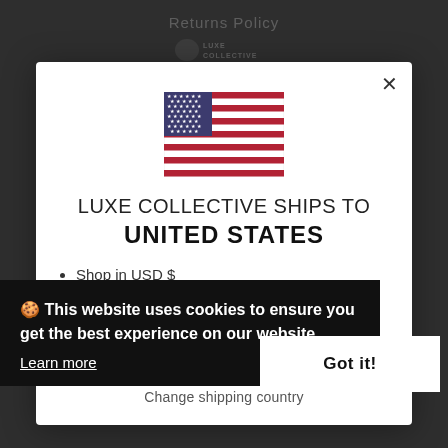Returns Policy
[Figure (logo): Luxe Collective logo with bird icon]
[Figure (illustration): US flag icon shown in modal dialog]
LUXE COLLECTIVE SHIPS TO UNITED STATES
Shop in USD $
Get shipping options for United States
Shop now
Change shipping country
🍪 This website uses cookies to ensure you get the best experience on our website.
Learn more
Got it!